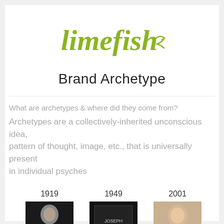[Figure (logo): Limefish logo in olive/lime green cursive handwritten script font]
Brand Archetype
What are archetypes & where did they come from?
Archetypes are a collectively-inherited unconscious idea, pattern of thought, image, etc., that is universally present in individual psyches
[Figure (photo): Three historical photos with years 1919, 1949, and 2001 shown above each photo in a timeline layout]